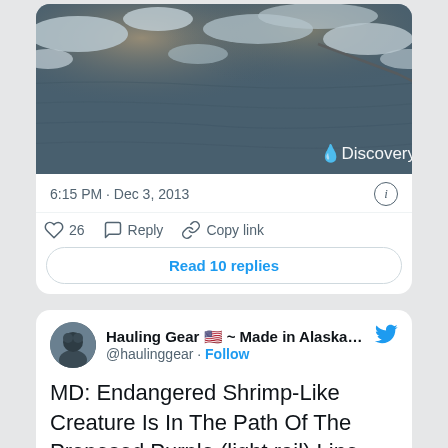[Figure (screenshot): Twitter/X screenshot showing two tweet cards. First card shows a Discovery-branded image of icy water with timestamp 6:15 PM · Dec 3, 2013, like count 26, Reply and Copy link actions, and a Read 10 replies button. Second card shows a tweet from Hauling Gear 🇺🇸 ~ Made in Alaska ~ Est.... (@haulinggear) with text: MD: Endangered Shrimp-Like Creature Is In The Path Of The Proposed Purple (light rail) Line.]